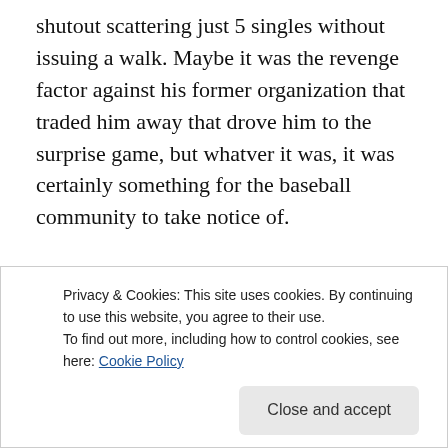shutout scattering just 5 singles without issuing a walk. Maybe it was the revenge factor against his former organization that traded him away that drove him to the surprise game, but whatver it was, it was certainly something for the baseball community to take notice of.
[Figure (screenshot): Advertisement banner with blue-to-purple gradient background, white italic text 'everything you need.', a pink 'Build Your Website' button, and a beige price tag icon on the right.]
Privacy & Cookies: This site uses cookies. By continuing to use this website, you agree to their use.
To find out more, including how to control cookies, see here: Cookie Policy
Close and accept